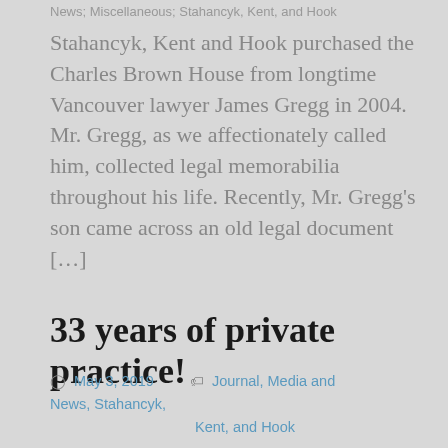News; Miscellaneous; Stahancyk, Kent, and Hook
Stahancyk, Kent and Hook purchased the Charles Brown House from longtime Vancouver lawyer James Gregg in 2004. Mr. Gregg, as we affectionately called him, collected legal memorabilia throughout his life. Recently, Mr. Gregg’s son came across an old legal document […]
33 years of private practice!
May 3, 2019    Journal, Media and News, Stahancyk, Kent, and Hook